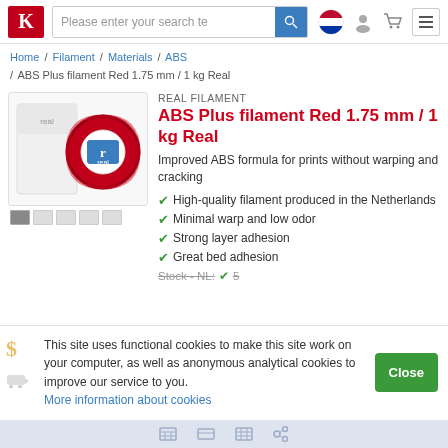Please enter your search te [search bar] [flag] [user] [cart] [menu]
Home / Filament / Materials / ABS / ABS Plus filament Red 1.75 mm / 1 kg Real
REAL FILAMENT
ABS Plus filament Red 1.75 mm / 1 kg Real
Improved ABS formula for prints without warping and cracking
High-quality filament produced in the Netherlands
Minimal warp and low odor
Strong layer adhesion
Great bed adhesion
Stock - NL:  ✔ 5
This site uses functional cookies to make this site work on your computer, as well as anonymous analytical cookies to improve our service to you. More information about cookies